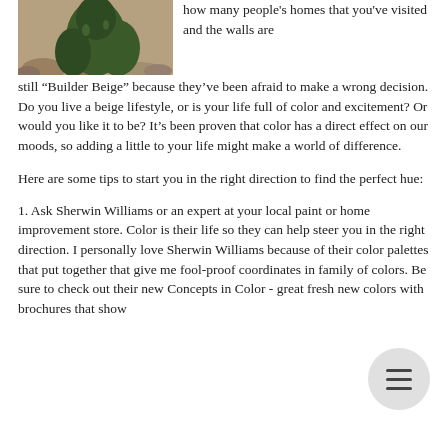[Figure (photo): Outdoor photo of a cactus plant with sandy/rocky ground, partially visible at top-left of page.]
how many people's homes that you've visited and the walls are still “Builder Beige” because they’ve been afraid to make a wrong decision. Do you live a beige lifestyle, or is your life full of color and excitement? Or would you like it to be? It’s been proven that color has a direct effect on our moods, so adding a little to your life might make a world of difference.
Here are some tips to start you in the right direction to find the perfect hue:
1. Ask Sherwin Williams or an expert at your local paint or home improvement store. Color is their life so they can help steer you in the right direction. I personally love Sherwin Williams because of their color palettes that put together that give me fool-proof coordinates in family of colors. Be sure to check out their new Concepts in Color - great fresh new colors with brochures that show